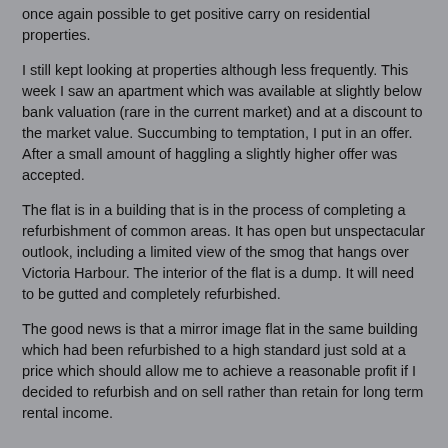once again possible to get positive carry on residential properties.
I still kept looking at properties although less frequently. This week I saw an apartment which was available at slightly below bank valuation (rare in the current market) and at a discount to the market value. Succumbing to temptation, I put in an offer. After a small amount of haggling a slightly higher offer was accepted.
The flat is in a building that is in the process of completing a refurbishment of common areas. It has open but unspectacular outlook, including a limited view of the smog that hangs over Victoria Harbour. The interior of the flat is a dump. It will need to be gutted and completely refurbished.
The good news is that a mirror image flat in the same building which had been refurbished to a high standard just sold at a price which should allow me to achieve a reasonable profit if I decided to refurbish and on sell rather than retain for long term rental income.